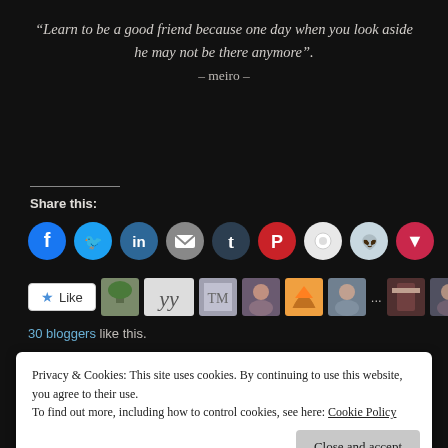“Learn to be a good friend because one day when you look aside he may not be there anymore”. – meiro –
Share this:
[Figure (infographic): Row of social media sharing icon buttons: Facebook (blue), Twitter (light blue), LinkedIn (dark blue), Email (grey), Tumblr (dark navy), Pinterest (red), Press This (white/grey), Reddit (light blue/grey), Pocket (red)]
[Figure (infographic): Like button widget with star icon and 'Like' text, followed by blogger avatar thumbnails. Shows 30 bloggers like this.]
30 bloggers like this.
9 Comments
Privacy & Cookies: This site uses cookies. By continuing to use this website, you agree to their use.
To find out more, including how to control cookies, see here: Cookie Policy
Close and accept